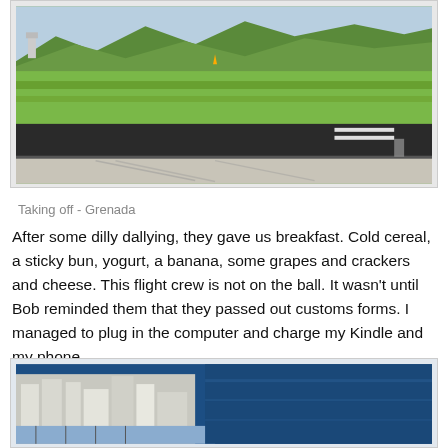[Figure (photo): Aerial/ground-level view of an airport runway with green grass hills in the background and a control tower visible. The foreground shows a concrete apron transitioning to dark asphalt runway.]
Taking off - Grenada
After some dilly dallying, they gave us breakfast. Cold cereal, a sticky bun, yogurt, a banana, some grapes and crackers and cheese. This flight crew is not on the ball. It wasn't until Bob reminded them that they passed out customs forms. I managed to plug in the computer and charge my Kindle and my phone.
[Figure (photo): Aerial view of a coastal city with buildings, marina, and deep blue water visible from an airplane window.]